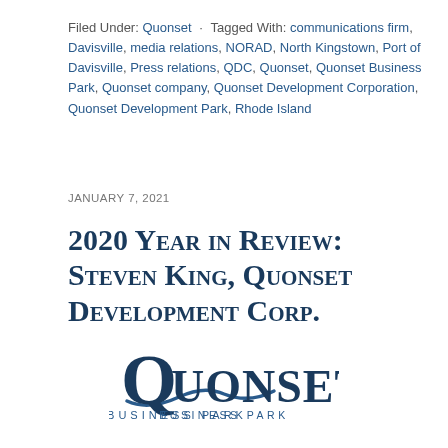Filed Under: Quonset · Tagged With: communications firm, Davisville, media relations, NORAD, North Kingstown, Port of Davisville, Press relations, QDC, Quonset, Quonset Business Park, Quonset company, Quonset Development Corporation, Quonset Development Park, Rhode Island
JANUARY 7, 2021
2020 Year in Review: Steven King, Quonset Development Corp.
[Figure (logo): Quonset Business Park logo — stylized Q with wave swoosh, text 'QUONSET' in large serif font and 'BUSINESS PARK' in spaced sans-serif below]